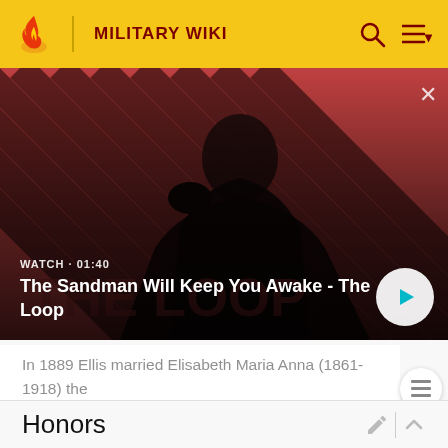MILITARY WIKI
[Figure (screenshot): Video thumbnail for 'The Sandman Will Keep You Awake - The Loop' showing a dark figure with a raven on a striped red and dark background. Label reads WATCH · 01:40 with a play button.]
In 1889 Ellis married Elisabeth Maria Anna (1861-1918) the daughter of his former superior, Vice Admiral Johann Willem Binkes. The marriage remained childless.
Honors